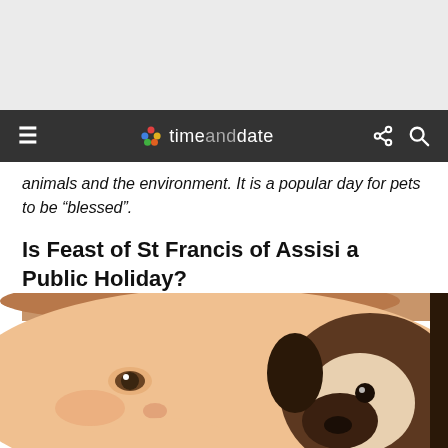[Figure (other): Gray advertisement banner area at the top of the page]
timeanddate
animals and the environment. It is a popular day for pets to be “blessed”.
Is Feast of St Francis of Assisi a Public Holiday?
Feast of St Francis of Assisi is not a public holiday. Businesses have normal opening hours.
[Figure (photo): Photo of a young child with a puppy (likely a Cavalier King Charles Spaniel or similar breed) nuzzling close to the child's face, on a white background.]